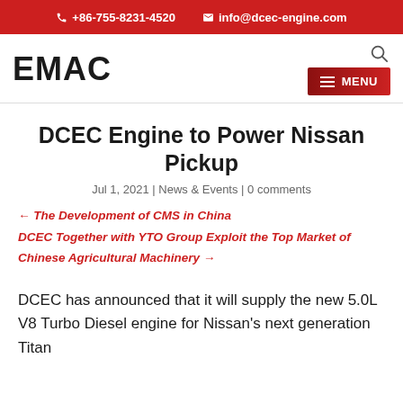+86-755-8231-4520  info@dcec-engine.com
[Figure (logo): EMAC logo in bold black text and red menu button]
DCEC Engine to Power Nissan Pickup
Jul 1, 2021 | News & Events | 0 comments
← The Development of CMS in China
DCEC Together with YTO Group Exploit the Top Market of Chinese Agricultural Machinery →
DCEC has announced that it will supply the new 5.0L V8 Turbo Diesel engine for Nissan's next generation Titan